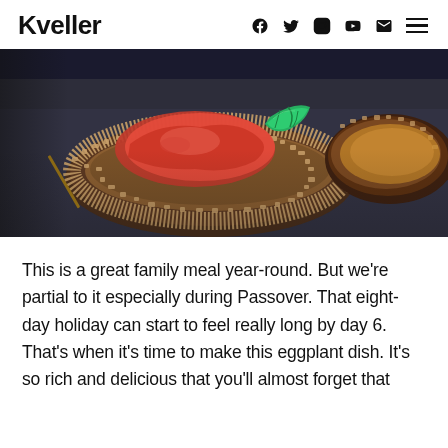Kveller
[Figure (photo): Close-up photo of a breaded eggplant dish topped with red tomato sauce and a fresh green basil leaf, served on a dark plate. Another piece of the dish is visible in the upper right corner.]
This is a great family meal year-round. But we’re partial to it especially during Passover. That eight-day holiday can start to feel really long by day 6. That’s when it’s time to make this eggplant dish. It’s so rich and delicious that you’ll almost forget that